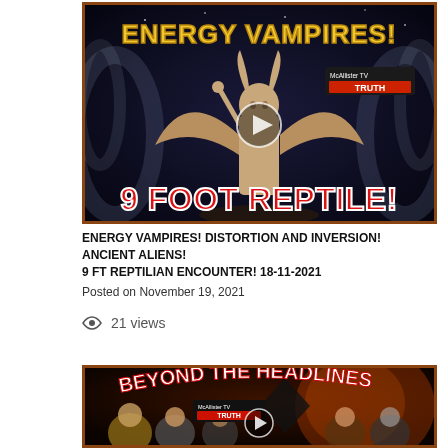[Figure (screenshot): Video thumbnail showing a demonic statue with text 'ENERGY VAMPIRES!' at top and '9 FOOT REPTILE!' at bottom, with McAllister TV Truth logo and a play button in the center]
ENERGY VAMPIRES! DISTORTION AND INVERSION! ANCIENT ALIENS! 9 FT REPTILIAN ENCOUNTER! 18-11-2021
Posted on November 19, 2021
21 views
[Figure (screenshot): Video thumbnail with text 'BEYOND THE HEADLINES' and McAllister TV Truth logo, showing caricatures of political figures with a play button]